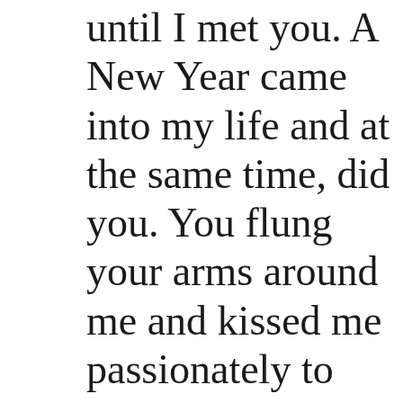until I met you. A New Year came into my life and at the same time, did you. You flung your arms around me and kissed me passionately to commemorate. Our first meeting, we